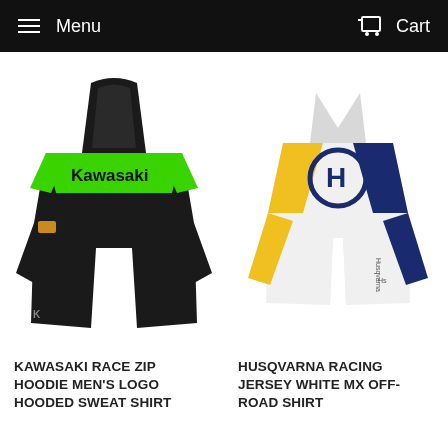Menu  Cart
[Figure (photo): Kawasaki Race Zip Hoodie - black and green hooded sweatshirt with Kawasaki logo on chest]
KAWASAKI RACE ZIP HOODIE MEN'S LOGO HOODED SWEAT SHIRT
[Figure (photo): Husqvarna Racing Jersey - white, blue and yellow MX off-road shirt with H logo on chest]
HUSQVARNA RACING JERSEY WHITE MX OFF-ROAD SHIRT